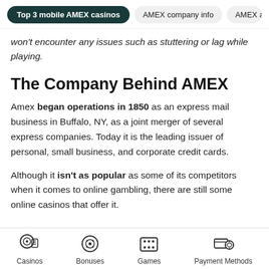Top 3 mobile AMEX casinos | AMEX company info | AMEX alternati
won't encounter any issues such as stuttering or lag while playing.
The Company Behind AMEX
Amex began operations in 1850 as an express mail business in Buffalo, NY, as a joint merger of several express companies. Today it is the leading issuer of personal, small business, and corporate credit cards.
Although it isn't as popular as some of its competitors when it comes to online gambling, there are still some online casinos that offer it.
Casinos | Bonuses | Games | Payment Methods